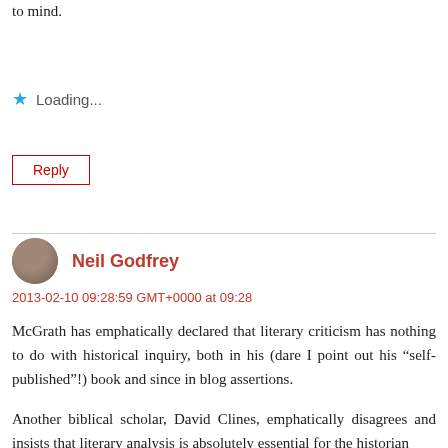to mind.
Loading...
Reply
Neil Godfrey
2013-02-10 09:28:59 GMT+0000 at 09:28
McGrath has emphatically declared that literary criticism has nothing to do with historical inquiry, both in his (dare I point out his “self-published”!) book and since in blog assertions.
Another biblical scholar, David Clines, emphatically disagrees and insists that literary analysis is absolutely essential for the historian